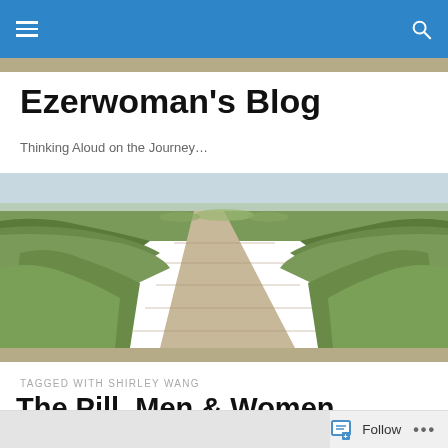Ezerwoman's Blog — top navigation bar with hamburger menu and search icon
Ezerwoman's Blog
Thinking Aloud on the Journey…
[Figure (photo): A wooden boardwalk path cutting through green marshland/grassland, stretching toward the horizon under a pale sky.]
TAGGED WITH SHIRLEY WANG
The Pill, Men & Women
Follow  •••